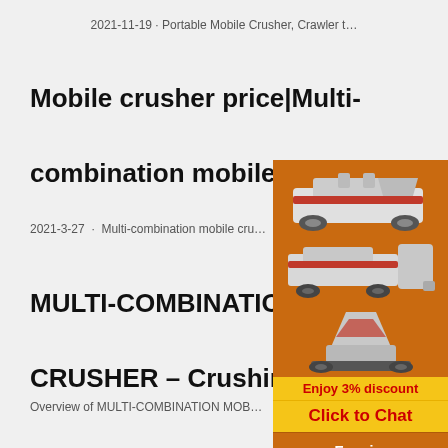2021-11-19 · Portable Mobile Crusher, Crawler t…
Mobile crusher price|Multi-combination mobile crusher ...
2021-3-27 · Multi-combination mobile cru…
MULTI-COMBINATION MOBILE CRUSHER – Crushing and
Overview of MULTI-COMBINATION MOB…
[Figure (photo): Advertisement panel with orange background showing three industrial crusher machines, a yellow 'Enjoy 3% discount' bar, a yellow 'Click to Chat' bar, an Enquiry section, and email limingjlmofen@sina.com]